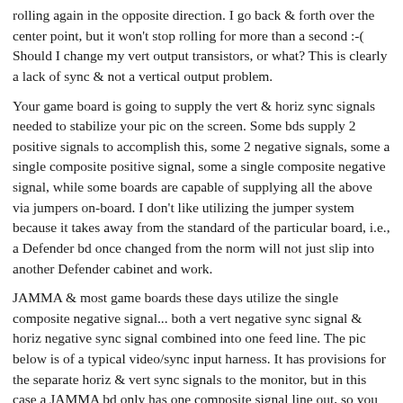rolling again in the opposite direction. I go back & forth over the center point, but it won't stop rolling for more than a second :-( Should I change my vert output transistors, or what? This is clearly a lack of sync & not a vertical output problem.
Your game board is going to supply the vert & horiz sync signals needed to stabilize your pic on the screen. Some bds supply 2 positive signals to accomplish this, some 2 negative signals, some a single composite positive signal, some a single composite negative signal, while some boards are capable of supplying all the above via jumpers on-board. I don't like utilizing the jumper system because it takes away from the standard of the particular board, i.e., a Defender bd once changed from the norm will not just slip into another Defender cabinet and work.
JAMMA & most game boards these days utilize the single composite negative signal... both a vert negative sync signal & horiz negative sync signal combined into one feed line. The pic below is of a typical video/sync input harness. It has provisions for the separate horiz & vert sync signals to the monitor, but in this case a JAMMA bd only has one composite signal line out, so you need to combine the 2 wires into one pin. When dealing with an OEM harness this is typically fed with one line up to the negative horiz sync post on the monitor & then jumped over to the vert sync post with a single short wire referred to as a loop.